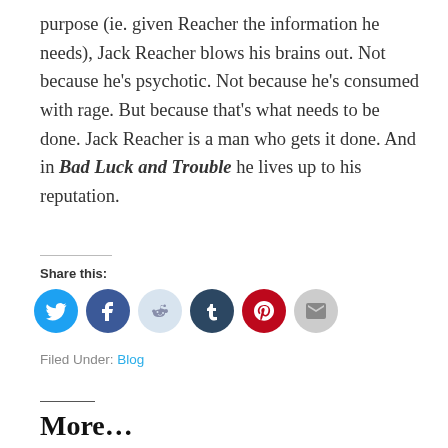purpose (ie. given Reacher the information he needs), Jack Reacher blows his brains out. Not because he's psychotic. Not because he's consumed with rage. But because that's what needs to be done. Jack Reacher is a man who gets it done. And in Bad Luck and Trouble he lives up to his reputation.
Share this:
[Figure (infographic): Six social sharing icon circles: Twitter (blue), Facebook (dark blue), Reddit (light gray-blue), Tumblr (dark navy), Pinterest (red), Email (light gray)]
Filed Under: Blog